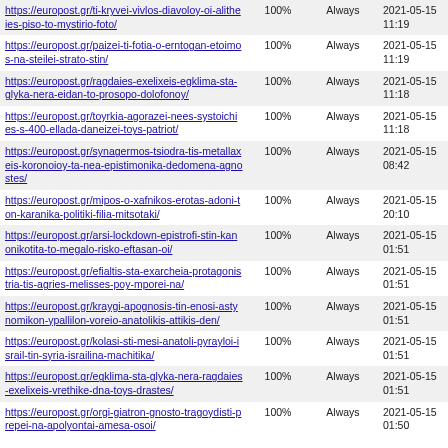| https://europost.gr/ti-kryvei-vivlos-diavoloy-oi-alitheies-piso-to-mystirio-foto/ | 100% | Always | 2021-05-15 11:19 |
| https://europost.gr/paizei-ti-fotia-o-erntogan-etoimos-na-steilei-strato-stin/ | 100% | Always | 2021-05-15 11:19 |
| https://europost.gr/ragdaies-exelixeis-egklima-sta-glyka-nera-eidan-to-prosopo-dolofonoy/ | 100% | Always | 2021-05-15 11:18 |
| https://europost.gr/toyrkia-agorazei-nees-systoichies-s-400-ellada-daneizei-toys-patriot/ | 100% | Always | 2021-05-15 11:18 |
| https://europost.gr/synagermos-tsiodra-tis-metallaxeis-koronoioy-ta-nea-epistimonika-dedomena-agnostes/ | 100% | Always | 2021-05-15 08:42 |
| https://europost.gr/mipos-o-xafnikos-erotas-adoni-ton-karanika-politiki-filia-mitsotaki/ | 100% | Always | 2021-05-15 20:10 |
| https://europost.gr/arsi-lockdown-epistrofi-stin-kanonikotita-to-megalo-risko-eftasan-oi/ | 100% | Always | 2021-05-15 01:51 |
| https://europost.gr/efialtis-sta-exarcheia-protagonistria-tis-agries-melisses-poy-mporei-na/ | 100% | Always | 2021-05-15 01:51 |
| https://europost.gr/kraygi-apognosis-tin-enosi-astynomikon-ypallilon-voreio-anatolikis-attikis-den/ | 100% | Always | 2021-05-15 01:51 |
| https://europost.gr/kolasi-sti-mesi-anatoli-pyrayloi-israil-tin-syria-israilina-machitika/ | 100% | Always | 2021-05-15 01:51 |
| https://europost.gr/egklima-sta-glyka-nera-ragdaies-exelixeis-vrethike-dna-toys-drastes/ | 100% | Always | 2021-05-15 01:51 |
| https://europost.gr/orgi-giatron-gnosto-tragoydisti-prepei-na-apolyontai-amesa-osoi/ | 100% | Always | 2021-05-15 01:50 |